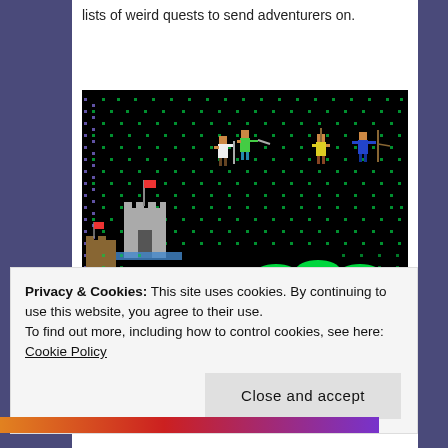lists of weird quests to send adventurers on.
[Figure (screenshot): Retro pixel-art video game screenshot showing a dark/black background with green dot patterns, pixel-art castle structures on the left, and pixelated character sprites in the center and right areas. Characters appear to be fantasy warriors/knights. There are glowing green oval shapes in the lower portion suggesting terrain or obstacles.]
Privacy & Cookies: This site uses cookies. By continuing to use this website, you agree to their use.
To find out more, including how to control cookies, see here: Cookie Policy
Close and accept